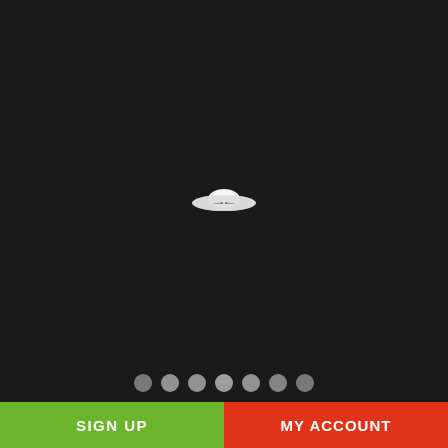[Figure (logo): UFOTV All Access logo with golden flying saucer above text UFOTV ALL ACCESS in metallic style]
[Figure (screenshot): Dark black app screen with a small loading spinner (white saucer-shaped icon) in the center]
[Figure (other): Seven pagination dots at bottom of carousel, all light gray/white semi-transparent]
SIGN UP
MY ACCOUNT